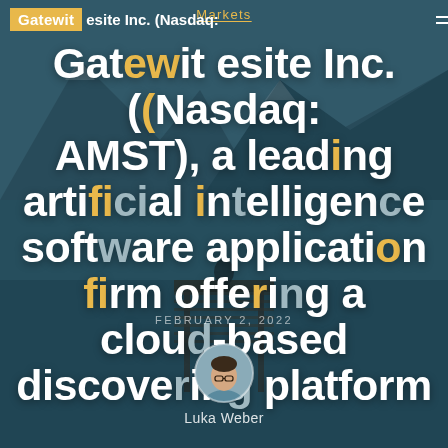Markets
Gatewit...esite Inc. (Nasdaq: AMST), a leading artificial intelligence software application firm offering a cloud-based discovering platform
FEBRUARY 2, 2022
[Figure (photo): Author portrait photo of Luka Weber, circular avatar]
Luka Weber